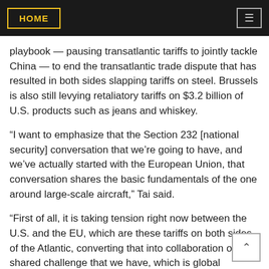HOME
playbook — pausing transatlantic tariffs to jointly tackle China — to end the transatlantic trade dispute that has resulted in both sides slapping tariffs on steel. Brussels is also still levying retaliatory tariffs on $3.2 billion of U.S. products such as jeans and whiskey.
“I want to emphasize that the Section 232 [national security] conversation that we’re going to have, and we’ve actually started with the European Union, that conversation shares the basic fundamentals of the one around large-scale aircraft,” Tai said.
“First of all, it is taking tension right now between the U.S. and the EU, which are these tariffs on both sides of the Atlantic, converting that into collaboration on a shared challenge that we have, which is global